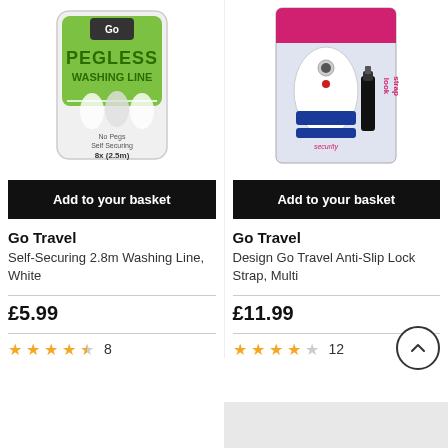[Figure (photo): Go Travel Pegless Washing Line product in green packaging]
[Figure (photo): Go Travel Anti-Slip Lock Strap product in pink and blue packaging]
Add to your basket
Add to your basket
Go Travel
Self-Securing 2.8m Washing Line, White
£5.99
★★★★½ 8
Go Travel
Design Go Travel Anti-Slip Lock Strap, Multi
£11.99
★★★★☆ 12